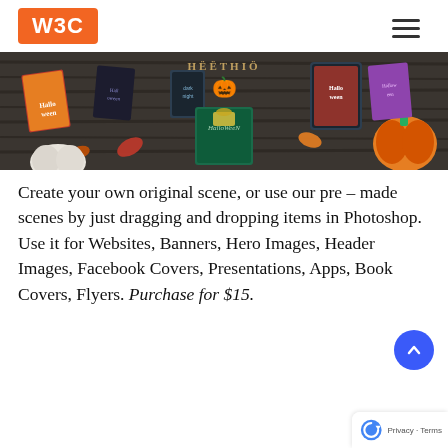W3C
[Figure (photo): Halloween-themed banner image showing book covers, pumpkins, autumn leaves, and Halloween decorations arranged on a dark wooden surface with 'HalloweN' text and a jack-o-lantern icon]
Create your own original scene, or use our pre – made scenes by just dragging and dropping items in Photoshop. Use it for Websites, Banners, Hero Images, Header Images, Facebook Covers, Presentations, Apps, Book Covers, Flyers. Purchase for $15.